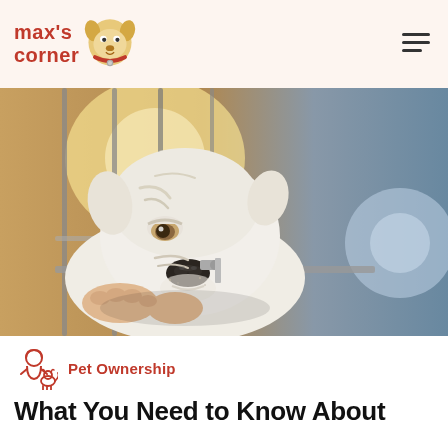max's corner
[Figure (photo): A white English bulldog puppy resting its head on the bars of a metal crate/cage, looking sad or tired, with a warm bokeh background]
Pet Ownership
What You Need to Know About